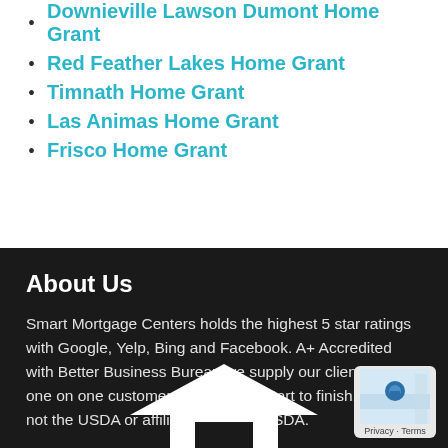Downieville Lawson Dumont Home Grant
Red Feather Lakes Home Grant
Timnath Home Grant
Las Animas Home Grant
Frisco Home Grant
About Us
Smart Mortgage Centers holds the highest 5 star ratings with Google, Yelp, Bing and Facebook. A+ Accredited with Better Business Bureau we supply our clients with one on one customer service from start to finish. We are not the USDA or affiliated with the USDA.
[Figure (logo): White house/roof logo shape at bottom of dark footer section]